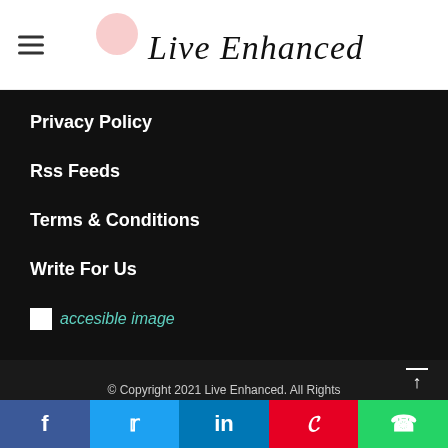Live Enhanced
Privacy Policy
Rss Feeds
Terms & Conditions
Write For Us
[Figure (illustration): Broken image placeholder with alt text 'accesible image' in teal italic font]
© Copyright 2021 Live Enhanced. All Rights
[Figure (infographic): Social share bar with Facebook, Twitter, LinkedIn, Pinterest, WhatsApp buttons]